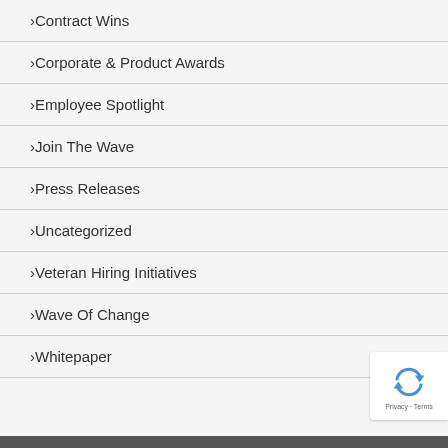Contract Wins
Corporate & Product Awards
Employee Spotlight
Join The Wave
Press Releases
Uncategorized
Veteran Hiring Initiatives
Wave Of Change
Whitepaper